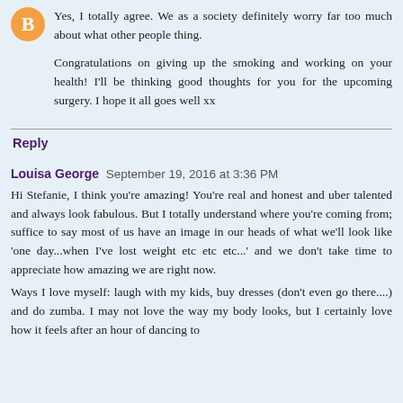Yes, I totally agree. We as a society definitely worry far too much about what other people thing.

Congratulations on giving up the smoking and working on your health! I'll be thinking good thoughts for you for the upcoming surgery. I hope it all goes well xx
Reply
Louisa George  September 19, 2016 at 3:36 PM
Hi Stefanie, I think you're amazing! You're real and honest and uber talented and always look fabulous. But I totally understand where you're coming from; suffice to say most of us have an image in our heads of what we'll look like 'one day...when I've lost weight etc etc etc...' and we don't take time to appreciate how amazing we are right now.
Ways I love myself: laugh with my kids, buy dresses (don't even go there....) and do zumba. I may not love the way my body looks, but I certainly love how it feels after an hour of dancing to